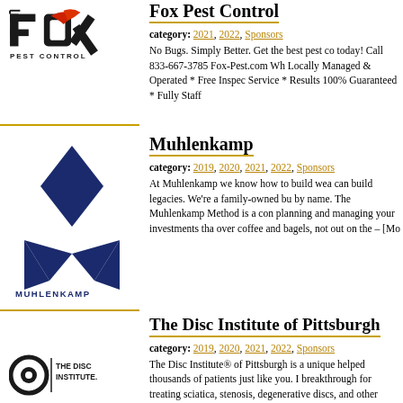Fox Pest Control
category: 2021, 2022, Sponsors
No Bugs. Simply Better. Get the best pest co today! Call 833-667-3785 Fox-Pest.com Wh Locally Managed & Operated * Free Inspec Service * Results 100% Guaranteed * Fully Staff
[Figure (logo): Fox Pest Control logo with stylized FOX letters and red flame/bird graphic, PEST CONTROL text below]
Muhlenkamp
category: 2019, 2020, 2021, 2022, Sponsors
At Muhlenkamp we know how to build wea can build legacies. We're a family-owned bu by name. The Muhlenkamp Method is a con planning and managing your investments tha over coffee and bagels, not out on the – [Mo
[Figure (logo): Muhlenkamp logo with dark blue diamond and M shape, MUHLENKAMP text below]
The Disc Institute of Pittsburgh
category: 2019, 2020, 2021, 2022, Sponsors
The Disc Institute® of Pittsburgh is a unique helped thousands of patients just like you. I breakthrough for treating sciatica, stenosis, degenerative discs, and other serious disc m
[Figure (logo): The Disc Institute logo with circular disc icon and THE DISC INSTITUTE text]